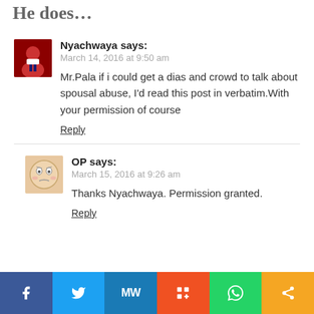He does…
Nyachwaya says:
March 14, 2016 at 9:50 am

Mr.Pala if i could get a dias and crowd to talk about spousal abuse, I'd read this post in verbatim.With your permission of course

Reply
OP says:
March 15, 2016 at 9:26 am

Thanks Nyachwaya. Permission granted.

Reply